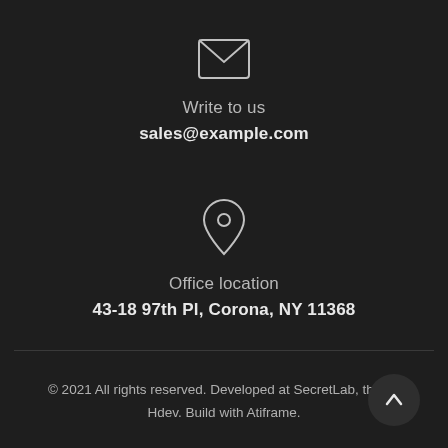[Figure (illustration): Envelope icon (outline style) representing email contact]
Write to us
sales@example.com
[Figure (illustration): Map pin / location marker icon (outline style)]
Office location
43-18 97th Pl, Corona, NY 11368
© 2021 All rights reserved. Developed at SecretLab, theme Hdev. Build with Atiframe.